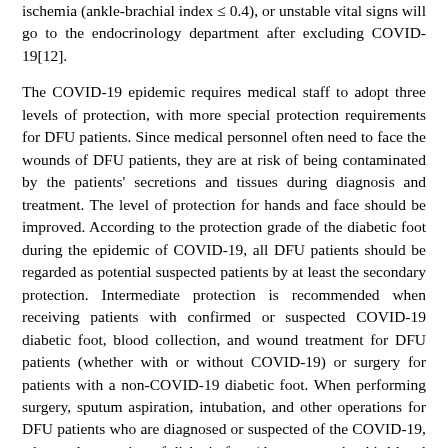ischemia (ankle-brachial index ≤ 0.4), or unstable vital signs will go to the endocrinology department after excluding COVID-19[12].
The COVID-19 epidemic requires medical staff to adopt three levels of protection, with more special protection requirements for DFU patients. Since medical personnel often need to face the wounds of DFU patients, they are at risk of being contaminated by the patients' secretions and tissues during diagnosis and treatment. The level of protection for hands and face should be improved. According to the protection grade of the diabetic foot during the epidemic of COVID-19, all DFU patients should be regarded as potential suspected patients by at least the secondary protection. Intermediate protection is recommended when receiving patients with confirmed or suspected COVID-19 diabetic foot, blood collection, and wound treatment for DFU patients (whether with or without COVID-19) or surgery for patients with a non-COVID-19 diabetic foot. When performing surgery, sputum aspiration, intubation, and other operations for DFU patients who are diagnosed or suspected of the COVID-19, advanced protection of diabetic foot (the same as the third-level protection in general) are recommended [13-14].
Follow the suggestions and guidelines of relevant experts, this paper puts forward reasonable recommendations for the diagnosis